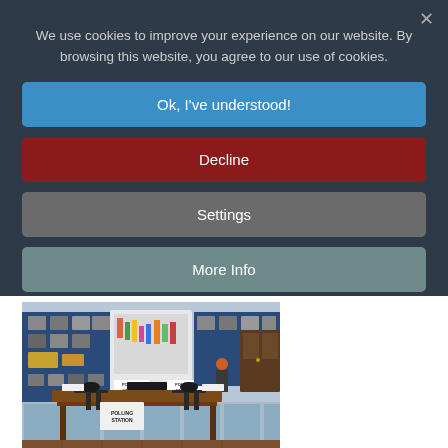We use cookies to improve your experience on our website. By browsing this website, you agree to our use of cookies.
Ok, I've understood!
Decline
Settings
More Info
[Figure (photo): Illustrated/rendered image of a polling station interior showing two desks with 'POLLING STATION' signs, chairs, and a display board with 'POLLING STATION' signs in the background.]